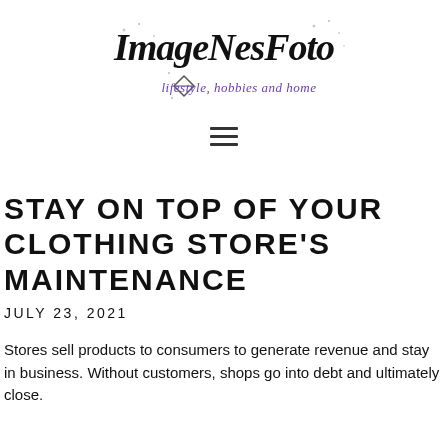[Figure (logo): ImageNesFoto logo with cursive/script text reading 'ImageNesFoto' in black and subtitle 'lifestyle, hobbies and home' in purple, with a diamond icon]
[Figure (other): Hamburger menu icon (three horizontal lines)]
STAY ON TOP OF YOUR CLOTHING STORE'S MAINTENANCE
JULY 23, 2021
Stores sell products to consumers to generate revenue and stay in business. Without customers, shops go into debt and ultimately close.